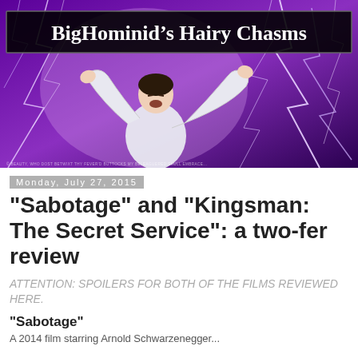[Figure (photo): Blog header banner image for 'BigHominid's Hairy Chasms' showing a man with arms raised against a purple lightning background, with the blog title in a black box at the top and small caption text at the bottom.]
Monday, July 27, 2015
"Sabotage" and "Kingsman: The Secret Service": a two-fer review
ATTENTION: SPOILERS FOR BOTH OF THE FILMS REVIEWED HERE.
"Sabotage"
A 2014 film starring Arnold Schwarzenegger...